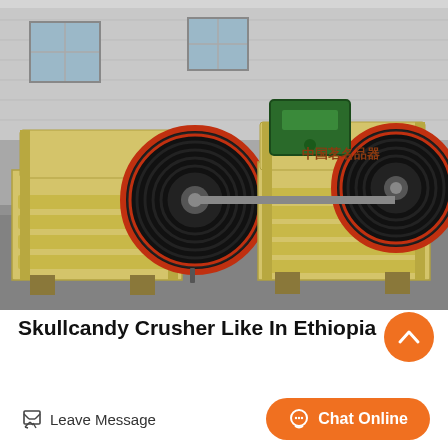[Figure (photo): Two large yellow jaw crushers with black flywheels and red-rimmed pulleys sitting on a concrete floor in an industrial warehouse. Chinese text '中国茗名品器' visible on the right machine. Green motor visible in background.]
Skullcandy Crusher Like In Ethiopia
Leave Message
Chat Online